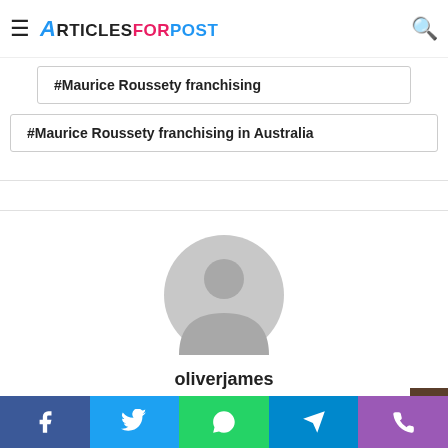ArticlesForPost — #Maurice Roussety
#Maurice Roussety franchising
#Maurice Roussety franchising in Australia
[Figure (illustration): Generic user avatar: circular grey silhouette of a person on white background]
oliverjames
Social share buttons: Facebook, Twitter, WhatsApp, Telegram, Phone